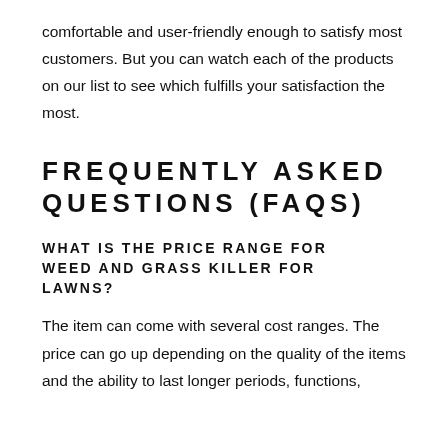comfortable and user-friendly enough to satisfy most customers. But you can watch each of the products on our list to see which fulfills your satisfaction the most.
FREQUENTLY ASKED QUESTIONS (FAQS)
WHAT IS THE PRICE RANGE FOR WEED AND GRASS KILLER FOR LAWNS?
The item can come with several cost ranges. The price can go up depending on the quality of the items and the ability to last longer periods, functions,